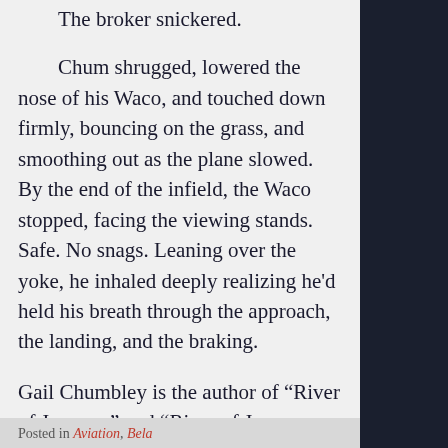The broker snickered.
Chum shrugged, lowered the nose of his Waco, and touched down firmly, bouncing on the grass, and smoothing out as the plane slowed. By the end of the infield, the Waco stopped, facing the viewing stands. Safe. No snags. Leaning over the yoke, he inhaled deeply realizing he'd held his breath through the approach, the landing, and the braking.
Gail Chumbley is the author of “River of January,” and “River of January: Figure Eight.” Available on Kindle and at http://www.river-of-january.com
Posted in Aviation, Bela